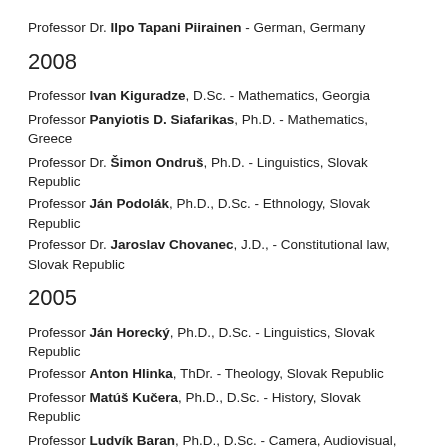Professor Dr. Ilpo Tapani Piirainen - German, Germany
2008
Professor Ivan Kiguradze, D.Sc. - Mathematics, Georgia
Professor Panyiotis D. Siafarikas, Ph.D. - Mathematics, Greece
Professor Dr. Šimon Ondruš, Ph.D. - Linguistics, Slovak Republic
Professor Ján Podolák, Ph.D., D.Sc. - Ethnology, Slovak Republic
Professor Dr. Jaroslav Chovanec, J.D., - Constitutional law, Slovak Republic
2005
Professor Ján Horecký, Ph.D., D.Sc. - Linguistics, Slovak Republic
Professor Anton Hlinka, ThDr. - Theology, Slovak Republic
Professor Matúš Kučera, Ph.D., D.Sc. - History, Slovak Republic
Professor Ludvík Baran, Ph.D., D.Sc. - Camera, Audiovisual, Documentary, Czech Republic